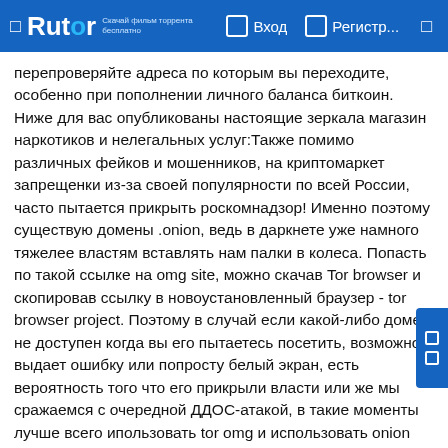Rutor — Вход — Регистр...
перепроверяйте адреса по которым вы переходите, особенно при пополнении личного баланса биткоин. Ниже для вас опубликованы настоящие зеркала магазин наркотиков и нелегальных услуг:Также помимо различных фейков и мошенников, на криптомаркет запрещенки из-за своей популярности по всей России, часто пытается прикрыть роскомнадзор! Именно поэтому существую домены .onion, ведь в даркнете уже намного тяжелее властям вставлять нам палки в колеса. Попасть по такой ссылке на omg site, можно скачав Tor browser и скопировав ссылку в новоустановленный браузер - tor browser project. Поэтому в случай если какой-либо домен не доступен когда вы его пытаетесь посетить, возможно выдает ошибку или попросту белый экран, есть вероятность того что его прикрыли власти или же мы сражаемся с очередной ДДОС-атакой, в такие моменты лучше всего ипользовать tor omg и использовать onion links:Немного о omg shopomg shop - это крупнейший черный криптомаркет, где работает огромное количество продавцов и с каждым днем всё больше и больше покупателей. Вместе со специализированных торговца...